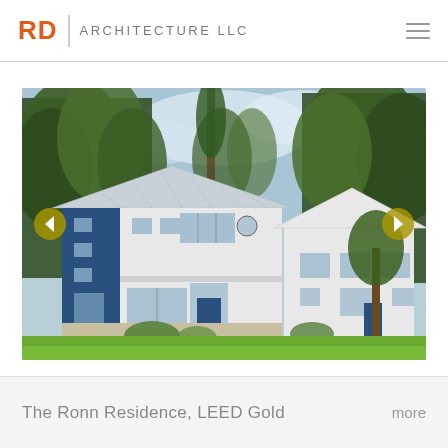RD ARCHITECTURE LLC
[Figure (photo): Exterior photograph of The Ronn Residence, a modern white two-story house with metal roof, blue accent panels, surrounded by tall trees, with green lawn in foreground. Navigation arrows on left and right sides of the image.]
The Ronn Residence, LEED Gold    more